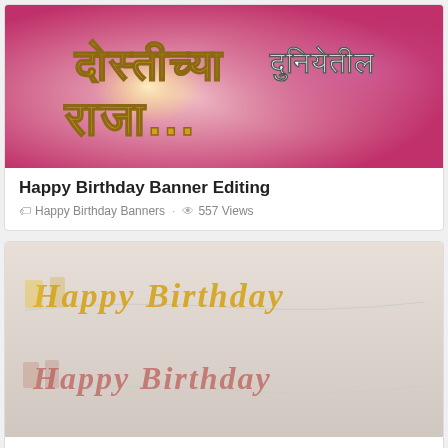[Figure (photo): Birthday banner with Marathi text on a pink/purple glowing background. Gold and dark text reads Devanagari script.]
Happy Birthday Banner Editing
Happy Birthday Banners · 557 Views
[Figure (photo): Photo of two Happy Birthday letter banner garlands — one in gold and one in rose gold — hanging on a wall.]
Happy Birthday Banners Silver
Happy Birthday Banners · 803 Views